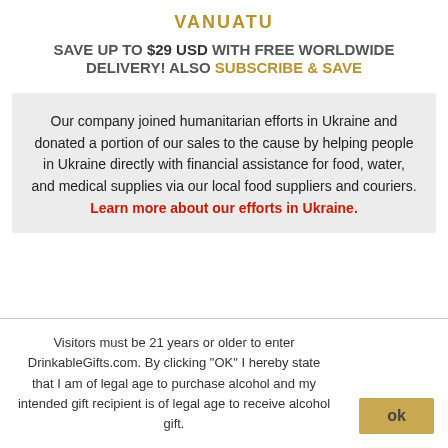VANUATU
SAVE UP TO $29 USD WITH FREE WORLDWIDE DELIVERY! ALSO SUBSCRIBE & SAVE
Our company joined humanitarian efforts in Ukraine and donated a portion of our sales to the cause by helping people in Ukraine directly with financial assistance for food, water, and medical supplies via our local food suppliers and couriers. Learn more about our efforts in Ukraine.
Visitors must be 21 years or older to enter DrinkableGifts.com. By clicking "OK" I hereby state that I am of legal age to purchase alcohol and my intended gift recipient is of legal age to receive alcohol gift.